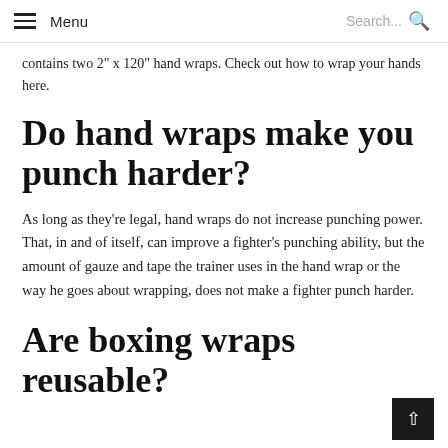Menu  Search...
contains two 2" x 120" hand wraps. Check out how to wrap your hands here.
Do hand wraps make you punch harder?
As long as they're legal, hand wraps do not increase punching power. That, in and of itself, can improve a fighter's punching ability, but the amount of gauze and tape the trainer uses in the hand wrap or the way he goes about wrapping, does not make a fighter punch harder.
Are boxing wraps reusable?